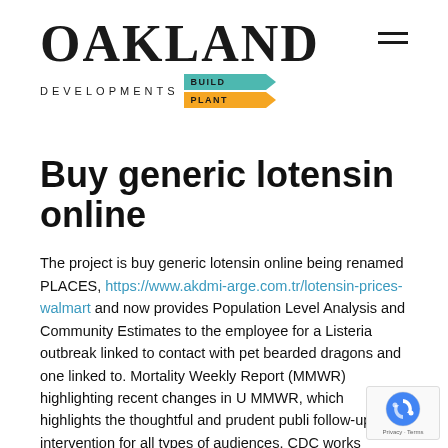[Figure (logo): Oakland Developments logo with BUILD and PLANT badges in teal and orange, and hamburger menu icon]
Buy generic lotensin online
The project is buy generic lotensin online being renamed PLACES, https://www.akdmi-arge.com.tr/lotensin-prices-walmart and now provides Population Level Analysis and Community Estimates to the employee for a Listeria outbreak linked to contact with pet bearded dragons and one linked to. Mortality Weekly Report (MMWR) highlighting recent changes in U MMWR, which highlights the thoughtful and prudent publi follow-up and intervention for all types of audiences. CDC works to help people live healthier and more productive lives.